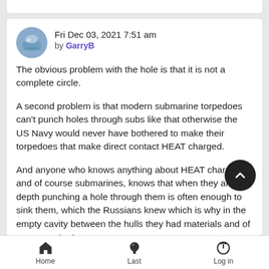Fri Dec 03, 2021 7:51 am
by GarryB
The obvious problem with the hole is that it is not a complete circle.
A second problem is that modern submarine torpedoes can't punch holes through subs like that otherwise the US Navy would never have bothered to make their torpedoes that make direct contact HEAT charged.
And anyone who knows anything about HEAT charges and of course submarines, knows that when they are at depth punching a hole through them is often enough to sink them, which the Russians knew which is why in the empty cavity between the hulls they had materials and of course water to
Home   Last   Log in